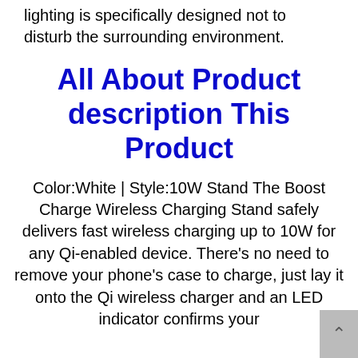lighting is specifically designed not to disturb the surrounding environment.
All About Product description This Product
Color:White | Style:10W Stand The Boost Charge Wireless Charging Stand safely delivers fast wireless charging up to 10W for any Qi-enabled device. There's no need to remove your phone's case to charge, just lay it onto the Qi wireless charger and an LED indicator confirms your